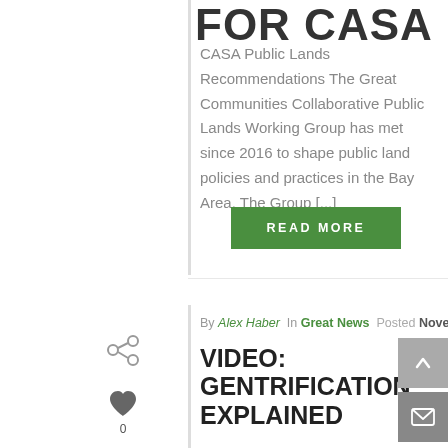FOR CASA
CASA Public Lands Recommendations The Great Communities Collaborative Public Lands Working Group has met since 2016 to shape public land policies and practices in the Bay Area. The Group [...]
READ MORE
By Alex Haber In Great News Posted November 20, 2017
VIDEO: GENTRIFICATION EXPLAINED